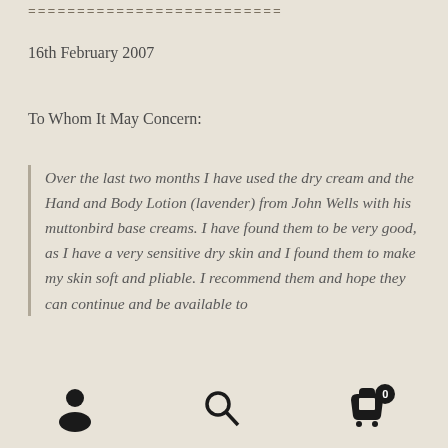==========================
16th February 2007
To Whom It May Concern:
Over the last two months I have used the dry cream and the Hand and Body Lotion (lavender) from John Wells with his muttonbird base creams. I have found them to be very good, as I have a very sensitive dry skin and I found them to make my skin soft and pliable. I recommend them and hope they can continue and be available to
[user icon] [search icon] [cart icon with badge 0]